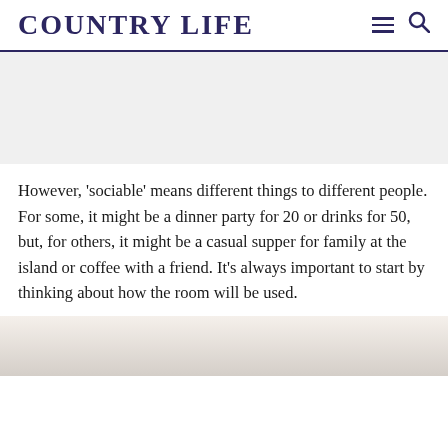COUNTRY LIFE
[Figure (other): Advertisement placeholder banner, light grey background]
However, 'sociable' means different things to different people. For some, it might be a dinner party for 20 or drinks for 50, but, for others, it might be a casual supper for family at the island or coffee with a friend. It's always important to start by thinking about how the room will be used.
[Figure (photo): Partial view of a kitchen or interior room, white/cream tones, bottom of page]